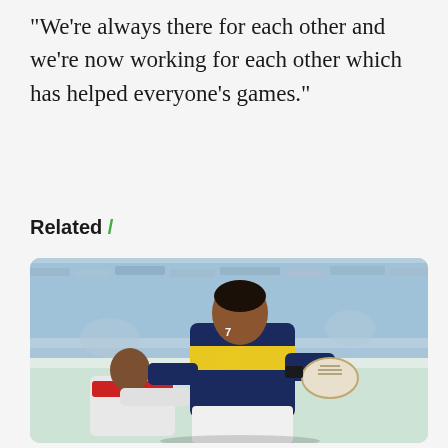"We're always there for each other and we're now working for each other which has helped everyone's games."
Related /
[Figure (photo): Rugby league player in navy and gold jersey carrying the ball being tackled by an opponent in white and red jersey, on a field with blue stadium seating in background]